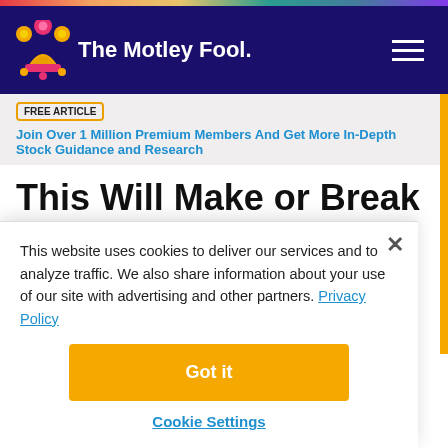[Figure (logo): The Motley Fool logo with jester hat on dark navy background navigation header]
FREE ARTICLE  Join Over 1 Million Premium Members And Get More In-Depth Stock Guidance and Research
This Will Make or Break Philip Morris International Tomorrow
This website uses cookies to deliver our services and to analyze traffic. We also share information about your use of our site with advertising and other partners. Privacy Policy
Got it
Cookie Settings